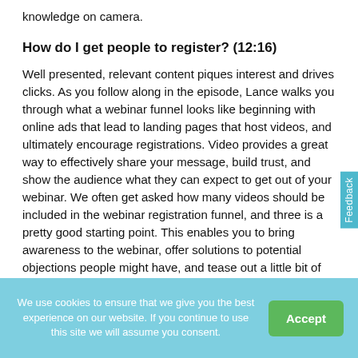knowledge on camera.
How do I get people to register? (12:16)
Well presented, relevant content piques interest and drives clicks. As you follow along in the episode, Lance walks you through what a webinar funnel looks like beginning with online ads that lead to landing pages that host videos, and ultimately encourage registrations. Video provides a great way to effectively share your message, build trust, and show the audience what they can expect to get out of your webinar. We often get asked how many videos should be included in the webinar registration funnel, and three is a pretty good starting point. This enables you to bring awareness to the webinar, offer solutions to potential objections people might have, and tease out a little bit of information your audience can expect to find in the webinar.
We use cookies to ensure that we give you the best experience on our website. If you continue to use this site we will assume you consent.